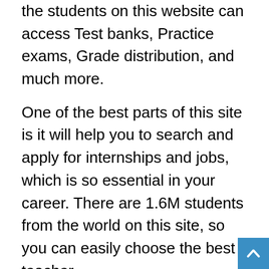the students on this website can access Test banks, Practice exams, Grade distribution, and much more.
One of the best parts of this site is it will help you to search and apply for internships and jobs, which is so essential in your career. There are 1.6M students from the world on this site, so you can easily choose the best teacher.
You can see overall ratings by a student on this website. And you can also see his GPA in a particular subject. This helps the students to pick the best Professor.